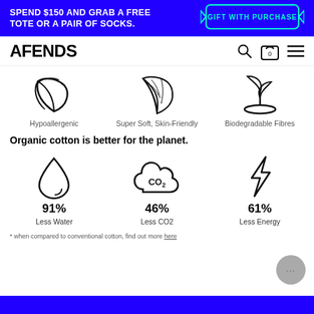SPEND $150 AND GRAB A FREE TOTE OR A PAIR OF SOCKS.  |  GIFT WITH PURCHASE
AFENDS
[Figure (infographic): Three icons: leaf/plant (Hypoallergenic), feather (Super Soft, Skin-Friendly), seedling in soil (Biodegradable Fibres)]
Organic cotton is better for the planet.
[Figure (infographic): Three icons with statistics: water drop (91% Less Water), CO2 cloud (46% Less CO2), lightning bolt (61% Less Energy)]
* when compared to conventional cotton, find out more here